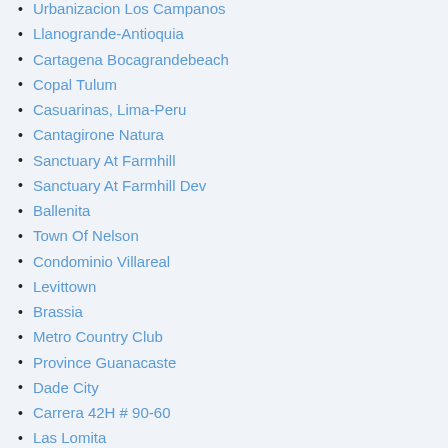Urbanizacion Los Campanos
Llanogrande-Antioquia
Cartagena Bocagrandebeach
Copal Tulum
Casuarinas, Lima-Peru
Cantagirone Natura
Sanctuary At Farmhill
Sanctuary At Farmhill Dev
Ballenita
Town Of Nelson
Condominio Villareal
Levittown
Brassia
Metro Country Club
Province Guanacaste
Dade City
Carrera 42H # 90-60
Las Lomita
Aves Del Paraiso